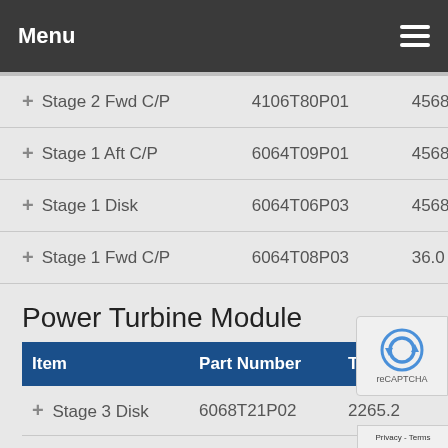Menu
+ Stage 2 Fwd C/P | 4106T80P01 | 4568.2
+ Stage 1 Aft C/P | 6064T09P01 | 4568.2
+ Stage 1 Disk | 6064T06P03 | 4568.2
+ Stage 1 Fwd C/P | 6064T08P03 | 36.0
Power Turbine Module
| Item | Part Number | TSN |
| --- | --- | --- |
| + Stage 3 Disk | 6068T21P02 | 2265.2 |
| + Stage 4 Disk | 6068T32P05 | 2265 |
| + PT Shaft | 5121T01G02 | 2265.2 |